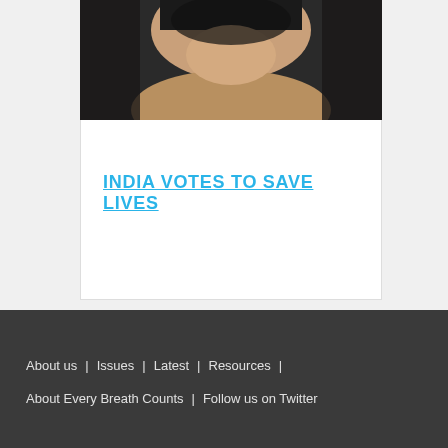[Figure (photo): Cropped photo showing a person's neck/chin area and shoulder, dark background, close-up shot]
INDIA VOTES TO SAVE LIVES
About us  |  Issues  |  Latest  |  Resources  |  About Every Breath Counts  |  Follow us on Twitter